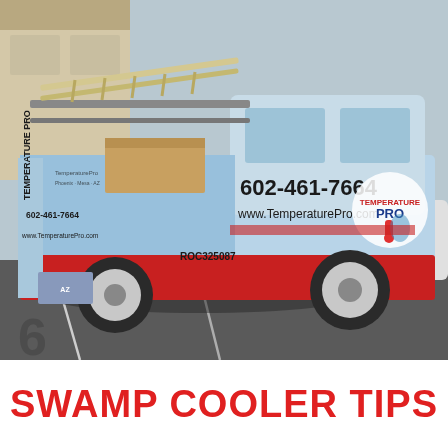[Figure (photo): A white Nissan pickup truck branded with TemperaturePro HVAC company livery. The truck is wrapped in light blue and red, displaying the phone number 602-461-7664 and website www.TemperaturePro.com on the door and tailgate. License plate area shows ROC325087. The truck is parked in a parking lot and has a ladder rack on top with ladders. A cardboard box is visible in the truck bed.]
SWAMP COOLER TIPS